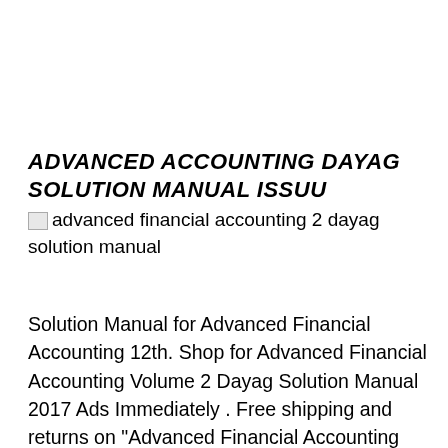ADVANCED ACCOUNTING DAYAG SOLUTION MANUAL ISSUU
[Figure (photo): Broken image placeholder with alt text: advanced financial accounting 2 dayag solution manual]
Solution Manual for Advanced Financial Accounting 12th. Shop for Advanced Financial Accounting Volume 2 Dayag Solution Manual 2017 Ads Immediately . Free shipping and returns on "Advanced Financial Accounting Volume 2 Dayag Solution Manual 2017 Online Wholesale" for you purchase it today !.Find more